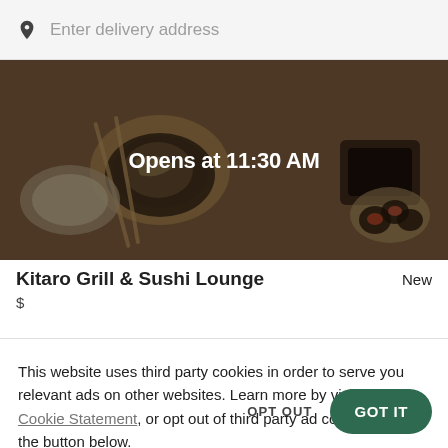Enter delivery address
[Figure (photo): Overhead photo of Japanese food — sushi, noodle bowl, sauce dishes on a wooden table, darkened overlay with text 'Opens at 11:30 AM' in white]
Kitaro Grill & Sushi Lounge
New
$
This website uses third party cookies in order to serve you relevant ads on other websites. Learn more by visiting our Cookie Statement, or opt out of third party ad cookies using the button below.
OPT OUT
GOT IT